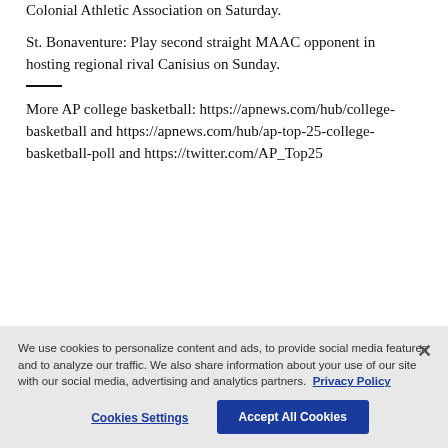Colonial Athletic Association on Saturday.
St. Bonaventure: Play second straight MAAC opponent in hosting regional rival Canisius on Sunday.
More AP college basketball: https://apnews.com/hub/college-basketball and https://apnews.com/hub/ap-top-25-college-basketball-poll and https://twitter.com/AP_Top25
We use cookies to personalize content and ads, to provide social media features and to analyze our traffic. We also share information about your use of our site with our social media, advertising and analytics partners. Privacy Policy
Cookies Settings
Accept All Cookies